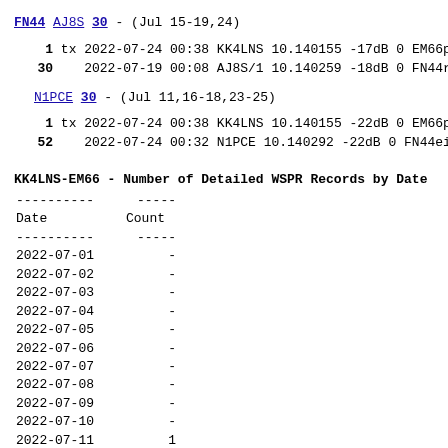FN44 AJ8S 30 - (Jul 15-19,24)
1 tx 2022-07-24 00:38 KK4LNS 10.140155 -17dB 0 EM66p
30     2022-07-19 00:08 AJ8S/1 10.140259 -18dB 0 FN44r
N1PCE 30 - (Jul 11,16-18,23-25)
1 tx 2022-07-24 00:38 KK4LNS 10.140155 -22dB 0 EM66p
52     2022-07-24 00:32 N1PCE 10.140292 -22dB 0 FN44ei
KK4LNS-EM66 - Number of Detailed WSPR Records by Date
| Date | Count |
| --- | --- |
| 2022-07-01 | - |
| 2022-07-02 | - |
| 2022-07-03 | - |
| 2022-07-04 | - |
| 2022-07-05 | - |
| 2022-07-06 | - |
| 2022-07-07 | - |
| 2022-07-08 | - |
| 2022-07-09 | - |
| 2022-07-10 | - |
| 2022-07-11 | 1 |
| 2022-07-12 | - |
| 2022-07-13 | - |